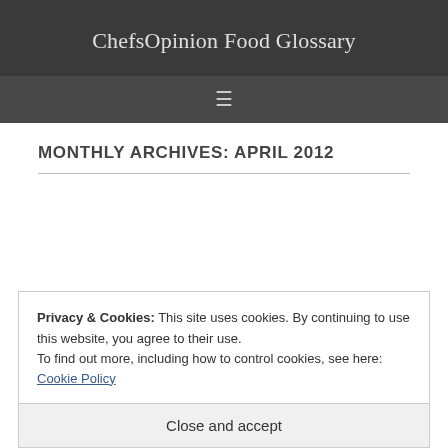ChefsOpinion Food Glossary
MONTHLY ARCHIVES: APRIL 2012
Privacy & Cookies: This site uses cookies. By continuing to use this website, you agree to their use.
To find out more, including how to control cookies, see here: Cookie Policy
Close and accept